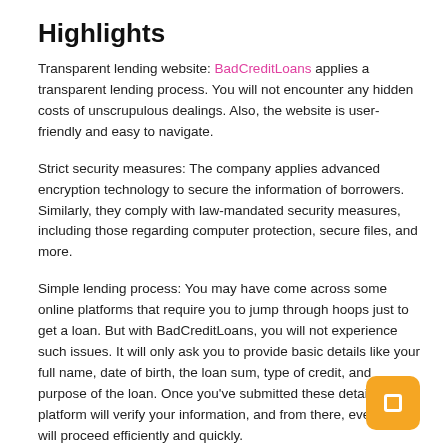Highlights
Transparent lending website: BadCreditLoans applies a transparent lending process. You will not encounter any hidden costs of unscrupulous dealings. Also, the website is user-friendly and easy to navigate.
Strict security measures: The company applies advanced encryption technology to secure the information of borrowers. Similarly, they comply with law-mandated security measures, including those regarding computer protection, secure files, and more.
Simple lending process: You may have come across some online platforms that require you to jump through hoops just to get a loan. But with BadCreditLoans, you will not experience such issues. It will only ask you to provide basic details like your full name, date of birth, the loan sum, type of credit, and purpose of the loan. Once you've submitted these details, the platform will verify your information, and from there, everything will proceed efficiently and quickly.
A wide range of best emergency loans: Unlike other websites